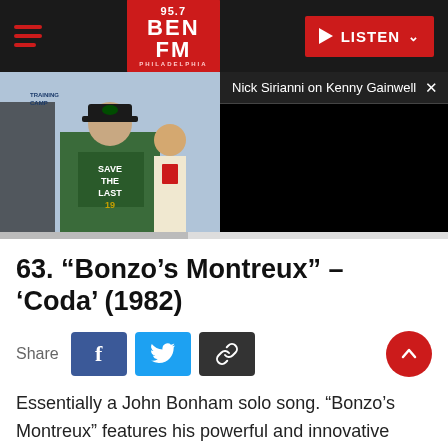95.7 BEN FM PHILADELPHIA — LISTEN
[Figure (photo): Photo of a man wearing a Philadelphia Eagles hat and a green 'Save The Last' shirt at what appears to be a sports event press area]
[Figure (screenshot): Video player with title 'Nick Sirianni on Kenny Gainwell' with a black video area and close button]
63. “Bonzo’s Montreux” – ‘Coda’ (1982)
Share
Essentially a John Bonham solo song. “Bonzo’s Montreux” features his powerful and innovative drumming; Jimmy Page added some electronic effects to the percussion-